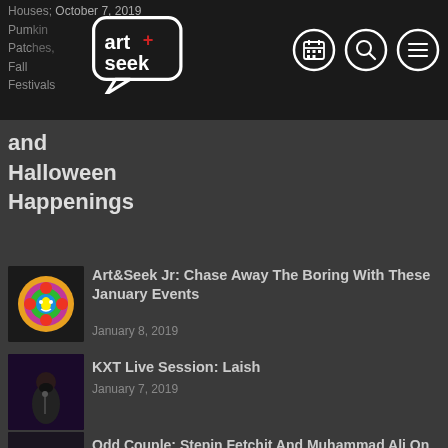Houses, October 7, 2019
Pumpkin Patches
Fall Festivals and Halloween Happenings
[Figure (logo): Art+Seek logo in speech bubble on dark nav bar]
[Figure (infographic): Nav bar icons: calendar, search, menu]
and Halloween Happenings
[Figure (photo): Colorful psychedelic illustration thumbnail]
Art&Seek Jr: Chase Away The Boring With These January Events
January 8, 2019
[Figure (photo): Man performing on stage thumbnail]
KXT Live Session: Laish
January 7, 2019
[Figure (photo): Man portrait thumbnail]
Odd Couple: Stepin Fetchit And Muhammad Ali On Stage at Dallas Theater Center
January 4, 2019